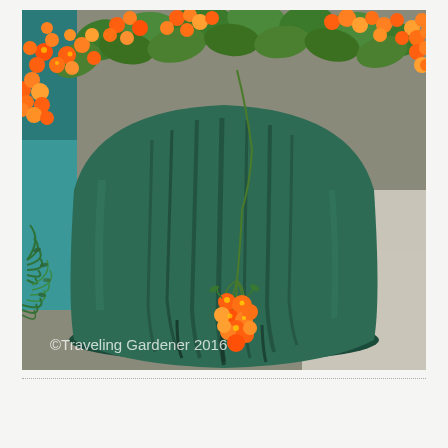[Figure (photo): Close-up photograph of a large green glazed ceramic pot/planter with orange and yellow flowers (begonias) spilling over the top and hanging down. A cluster of orange round blooms hangs prominently in the center. Green ferns are visible on the left side. The background shows a teal/blue surface and grey pavement. A watermark reads '©Traveling Gardener 2016' in white text at the bottom left of the image.]